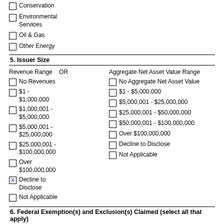Conservation
Environmental Services
Oil & Gas
Other Energy
5. Issuer Size
| Revenue Range | OR | Aggregate Net Asset Value Range |
| --- | --- | --- |
| No Revenues |  | No Aggregate Net Asset Value |
| $1 - $1,000,000 |  | $1 - $5,000,000 |
| $1,000,001 - $5,000,000 |  | $5,000,001 - $25,000,000 |
| $5,000,001 - $25,000,000 |  | $25,000,001 - $50,000,000 |
| $25,000,001 - $100,000,000 |  | $50,000,001 - $100,000,000 |
| Over $100,000,000 |  | Over $100,000,000 |
| Decline to Disclose [X] |  | Decline to Disclose |
| Not Applicable |  | Not Applicable |
6. Federal Exemption(s) and Exclusion(s) Claimed (select all that apply)
Rule